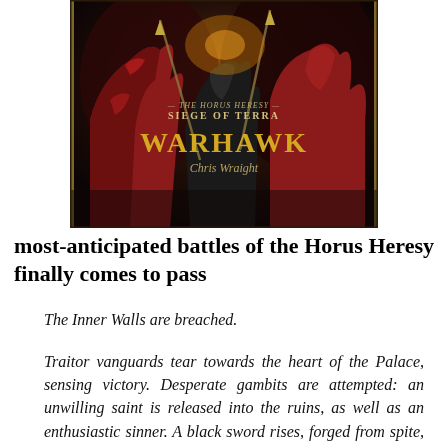[Figure (illustration): Book cover for 'Warhawk' by Chris Wraight, part of The Horus Heresy: Siege of Terra series. Dark artwork featuring armored warriors in red and black, with the series title, book title in gold, and author name displayed.]
most-anticipated battles of the Horus Heresy finally comes to pass
The Inner Walls are breached.
Traitor vanguards tear towards the heart of the Palace, sensing victory. Desperate gambits are attempted: an unwilling saint is released into the ruins, as well as an enthusiastic sinner. A black sword rises, forged from spite, ready to create a legend. But amid the